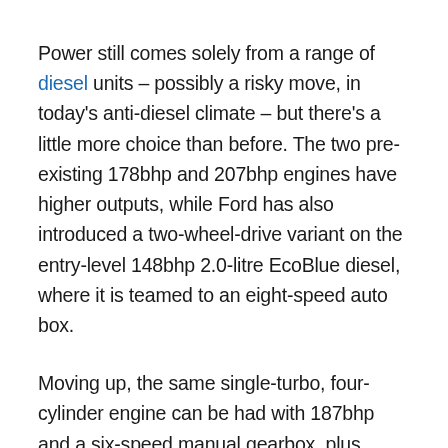Power still comes solely from a range of diesel units – possibly a risky move, in today's anti-diesel climate – but there's a little more choice than before. The two pre-existing 178bhp and 207bhp engines have higher outputs, while Ford has also introduced a two-wheel-drive variant on the entry-level 148bhp 2.0-litre EcoBlue diesel, where it is teamed to an eight-speed auto box.
Moving up, the same single-turbo, four-cylinder engine can be had with 187bhp and a six-speed manual gearbox, plus Ford's Intelligent All-Wheel Drive. This allows the car to run in front-wheel-drive mode most of the time, saving fuel. Finally, the bi-turbo EcoBlue engine now delivers 237bhp and 500Nm, all through the automatic box and